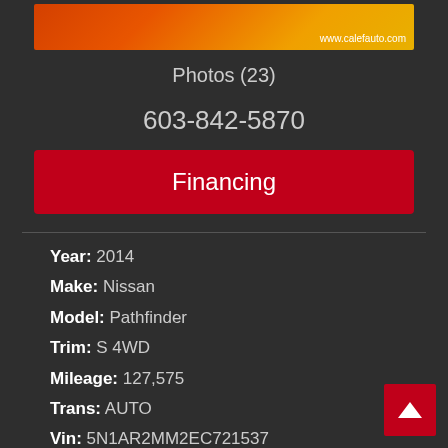[Figure (illustration): Calef Auto dealer banner with red and orange gradient and www.calefauto.com URL]
Photos (23)
603-842-5870
Financing
Year: 2014
Make: Nissan
Model: Pathfinder
Trim: S 4WD
Mileage: 127,575
Trans: AUTO
Vin: 5N1AR2MM2EC721537
Stock #: 721537